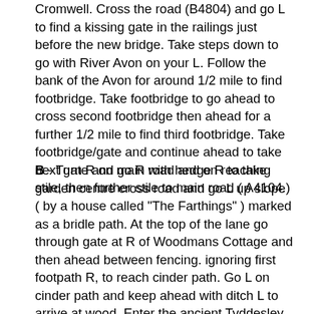Cromwell. Cross the road (B4804) and go L to find a kissing gate in the railings just before the new bridge. Take steps down to go with River Avon on your L. Follow the bank of the Avon for around 1/2 mile to find footbridge. Take footbridge to go ahead to cross second footbridge then ahead for a further 1/2 mile to find third footbridge. Take footbridge/gate and continue ahead to take next gate and go R with hedge R to take stile, then further stile to main road ( A4104.)
B - Turn R on main road and on reaching garden centre cross road and go L up slope ( by a house called "The Farthings" ) marked as a bridle path. At the top of the lane go through gate at R of Woodmans Cottage and then ahead between fencing. ignoring first footpath R, to reach cinder path. Go L on cinder path and keep ahead with ditch L to arrive at wood. Enter the ancient Tyddesley Wood through the stile/gate and go ahead down bridle path through the wood. Cross logging road and continue through wood ignoring side paths to maintain line down to take bridge over Bow Brook. Go through gate and up field with fence R to take gate at top corner of field to road (Salters Lane). Go L